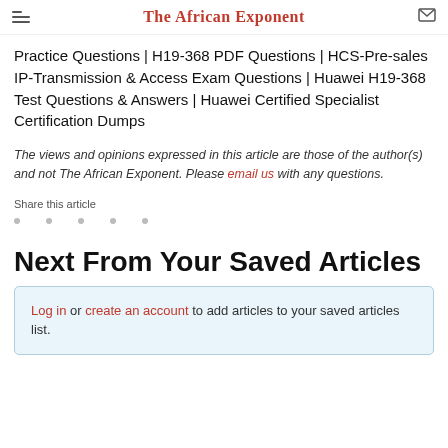The African Exponent
Practice Questions | H19-368 PDF Questions | HCS-Pre-sales IP-Transmission & Access Exam Questions | Huawei H19-368 Test Questions & Answers | Huawei Certified Specialist Certification Dumps
The views and opinions expressed in this article are those of the author(s) and not The African Exponent. Please email us with any questions.
Share this article
Next From Your Saved Articles
Log in or create an account to add articles to your saved articles list.